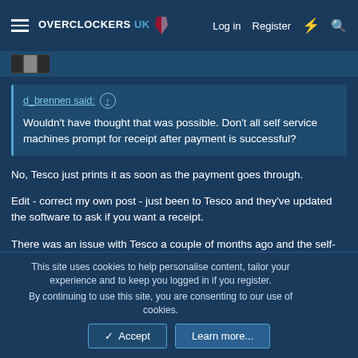OVERCLOCKERS UK — Log in  Register
d_brennen said: ↑
Wouldn't have thought that was possible. Don't all self service machines prompt for receipt after payment is successful?
No, Tesco just prints it as soon as the payment goes through.
Edit - correct my own post - just been to Tesco and they've updated the software to ask if you want a receipt.
There was an issue with Tesco a couple of months ago and the self-service tills weren't working properly, maybe what happened to @lunar and @arknor too. I 'paid' contactless and listened for the beeps while packing, as I usually do then started walking out, half thinking I hadn't
This site uses cookies to help personalise content, tailor your experience and to keep you logged in if you register.
By continuing to use this site, you are consenting to our use of cookies.